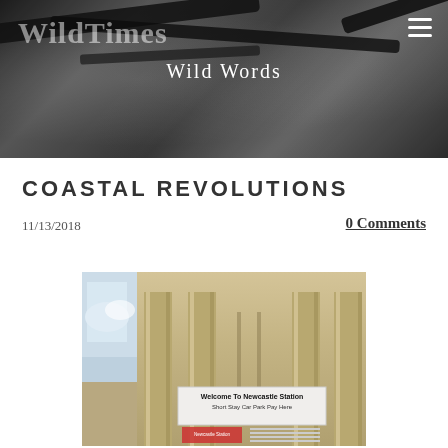WildTimes
Wild Words
COASTAL REVOLUTIONS
11/13/2018
0 Comments
[Figure (photo): Exterior of Newcastle Station showing stone columns and a sign reading 'Welcome To Newcastle Station Short Stay Car Park Pay Here']